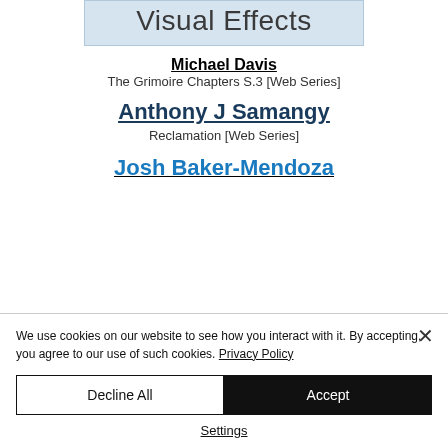Visual Effects
Michael Davis
The Grimoire Chapters S.3 [Web Series]
Anthony J Samangy
Reclamation [Web Series]
Josh Baker-Mendoza
We use cookies on our website to see how you interact with it. By accepting, you agree to our use of such cookies. Privacy Policy
Decline All
Accept
Settings